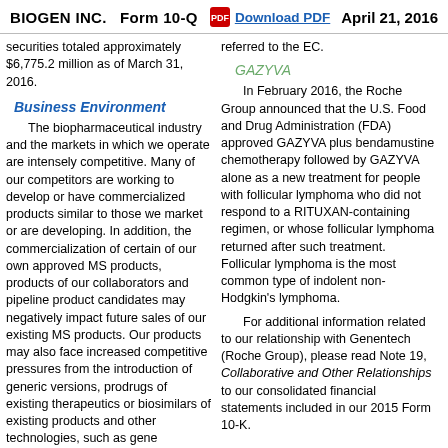BIOGEN INC.   Form 10-Q   Download PDF   April 21, 2016
securities totaled approximately $6,775.2 million as of March 31, 2016.
Business Environment
The biopharmaceutical industry and the markets in which we operate are intensely competitive. Many of our competitors are working to develop or have commercialized products similar to those we market or are developing. In addition, the commercialization of certain of our own approved MS products, products of our collaborators and pipeline product candidates may negatively impact future sales of our existing MS products. Our products may also face increased competitive pressures from the introduction of generic versions, prodrugs of existing therapeutics or biosimilars of existing products and other technologies, such as gene
referred to the EC.
GAZYVA
In February 2016, the Roche Group announced that the U.S. Food and Drug Administration (FDA) approved GAZYVA plus bendamustine chemotherapy followed by GAZYVA alone as a new treatment for people with follicular lymphoma who did not respond to a RITUXAN-containing regimen, or whose follicular lymphoma returned after such treatment. Follicular lymphoma is the most common type of indolent non-Hodgkin's lymphoma.
For additional information related to our relationship with Genentech (Roche Group), please read Note 19, Collaborative and Other Relationships to our consolidated financial statements included in our 2015 Form 10-K.